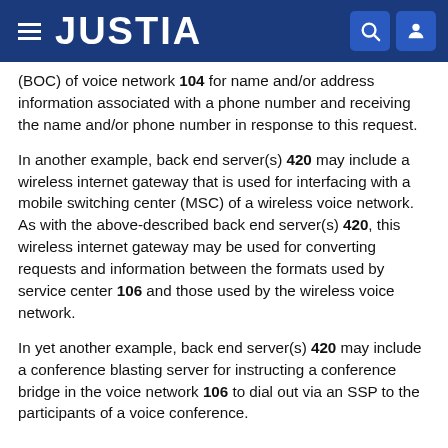JUSTIA
(BOC) of voice network 104 for name and/or address information associated with a phone number and receiving the name and/or phone number in response to this request.
In another example, back end server(s) 420 may include a wireless internet gateway that is used for interfacing with a mobile switching center (MSC) of a wireless voice network. As with the above-described back end server(s) 420, this wireless internet gateway may be used for converting requests and information between the formats used by service center 106 and those used by the wireless voice network.
In yet another example, back end server(s) 420 may include a conference blasting server for instructing a conference bridge in the voice network 106 to dial out via an SSP to the participants of a voice conference.